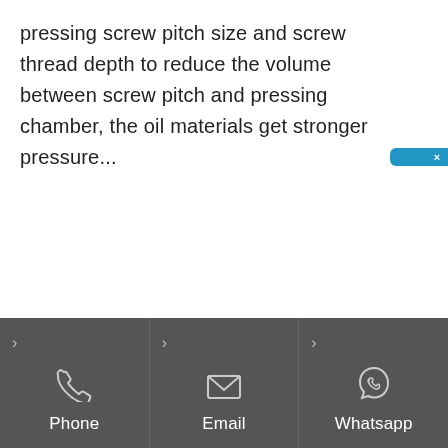pressing screw pitch size and screw thread depth to reduce the volume between screw pitch and pressing chamber, the oil materials get stronger pressure...
[Figure (photo): Interior of an industrial factory/warehouse with oil pressing machinery, blue equipment, scaffolding, and sacks of materials on the floor]
Phone  Email  Whatsapp